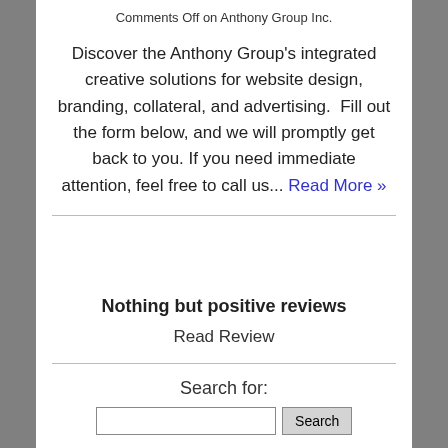Comments Off on Anthony Group Inc.
Discover the Anthony Group's integrated creative solutions for website design, branding, collateral, and advertising.  Fill out the form below, and we will promptly get back to you. If you need immediate attention, feel free to call us... Read More »
Nothing but positive reviews
Read Review
Search for: